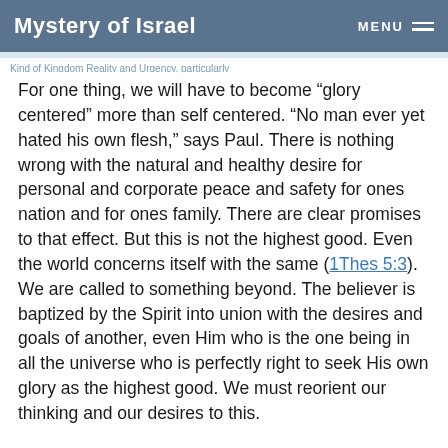Mystery of Israel  MENU
For one thing, we will have to become “glory centered” more than self centered. “No man ever yet hated his own flesh,” says Paul. There is nothing wrong with the natural and healthy desire for personal and corporate peace and safety for ones nation and for ones family. There are clear promises to that effect. But this is not the highest good. Even the world concerns itself with the same (1Thes 5:3). We are called to something beyond. The believer is baptized by the Spirit into union with the desires and goals of another, even Him who is the one being in all the universe who is perfectly right to seek His own glory as the highest good. We must reorient our thinking and our desires to this.